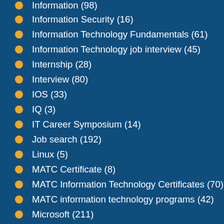Information (98)
Information Security (16)
Information Technology Fundamentals (61)
Information Technology job interview (45)
Internship (28)
Interview (80)
IOS (33)
IQ (3)
IT Career Symposium (14)
Job search (192)
Linux (5)
MATC Certificate (8)
MATC Information Technology Certificates (70)
MATC information technology programs (42)
Microsoft (211)